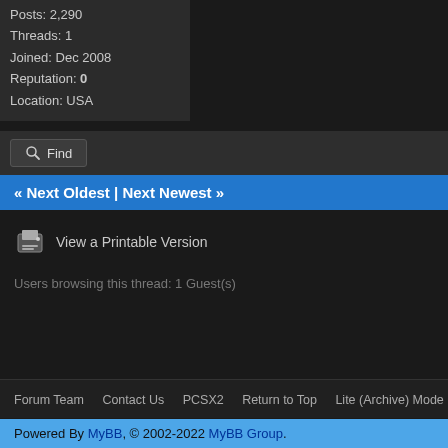Posts: 2,290
Threads: 1
Joined: Dec 2008
Reputation: 0
Location: USA
Find
« Next Oldest | Next Newest »
View a Printable Version
Users browsing this thread: 1 Guest(s)
Forum Team   Contact Us   PCSX2   Return to Top   Lite (Archive) Mode   Mark
Powered By MyBB, © 2002-2022 MyBB Group.